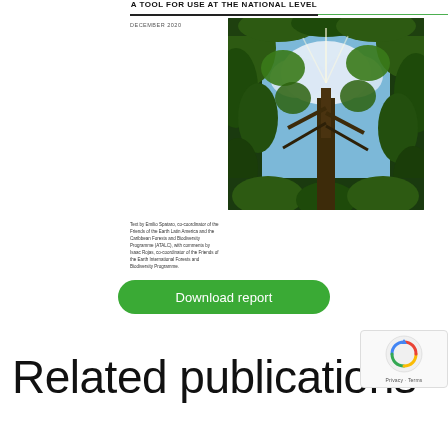A TOOL FOR USE AT THE NATIONAL LEVEL
DECEMBER 2020
[Figure (photo): Upward-looking photograph through tall forest trees toward a bright sky with clouds, showing lush green canopy.]
Text by Emilio Spataro, co-coordinator of the Friends of the Earth Latin America and the Caribbean Forests and Biodiversity Programme (ATALC), with comments by Isaac Rojas, co-coordinator of the Friends of the Earth International Forests and Biodiversity Programme.
Download report
Related publications
[Figure (logo): reCAPTCHA logo with Privacy - Terms label]